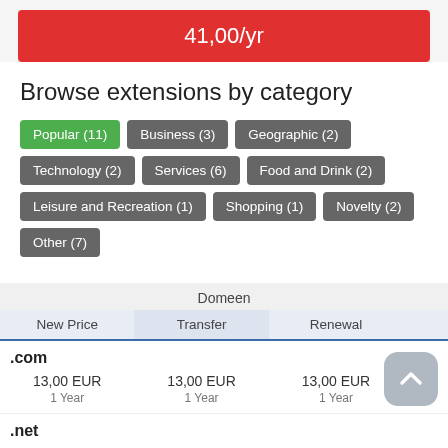41,00/yr
Browse extensions by category
Popular (11)
Business (3)
Geographic (2)
Technology (2)
Services (6)
Food and Drink (2)
Leisure and Recreation (1)
Shopping (1)
Novelty (2)
Other (7)
|  | Domeen |  |  |
| --- | --- | --- | --- |
|  | New Price | Transfer | Renewal |
| .com |  |  |  |
|  | 13,00 EUR
1 Year | 13,00 EUR
1 Year | 13,00 EUR
1 Year |
| .net |  |  |  |
|  | 13,09 EUR
1 Year | 13,09 EUR
1 Year | 13,09 EUR
1 Year |